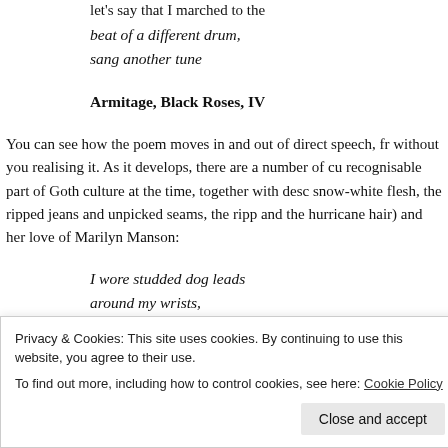let's say that I marched to the
beat of a different drum,
sang another tune
Armitage, Black Roses, IV
You can see how the poem moves in and out of direct speech, fr without you realising it. As it develops, there are a number of cu recognisable part of Goth culture at the time, together with desc snow-white flesh, the ripped jeans and unpicked seams, the ripp and the hurricane hair) and her love of Marilyn Manson:
I wore studded dog leads
around my wrists,
of saliva from Marilyn Manson's lips! [she is at his gig]
Privacy & Cookies: This site uses cookies. By continuing to use this website, you agree to their use.
To find out more, including how to control cookies, see here: Cookie Policy